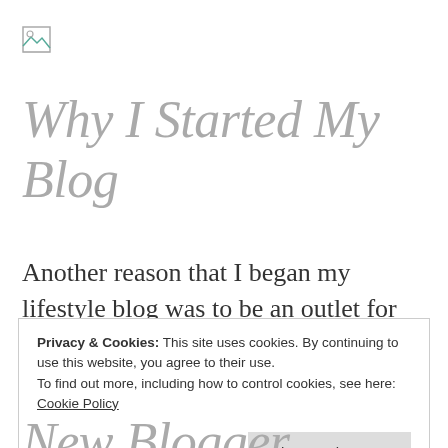[Figure (other): Broken image icon placeholder in top-left corner]
Why I Started My Blog
Another reason that I began my lifestyle blog was to be an outlet for my experiences and reviews. I love to to try new things, new food, new styles, new ways of saving money, movies
Privacy & Cookies: This site uses cookies. By continuing to use this website, you agree to their use.
To find out more, including how to control cookies, see here: Cookie Policy
Close and accept
New Blogger...